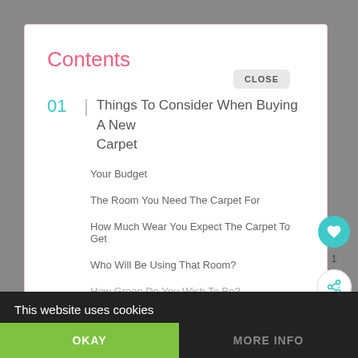Contents
01 | Things To Consider When Buying A New Carpet
Your Budget
The Room You Need The Carpet For
How Much Wear You Expect The Carpet To Get
Who Will Be Using That Room?
How Green Do You Wish To Be?
This website uses cookies
OKAY
MORE INFO